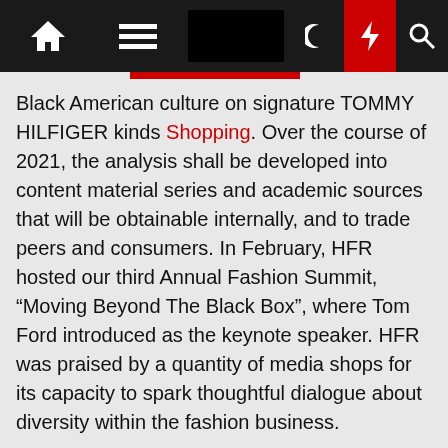[Navigation bar with home, menu, search, moon, lightning, and search icons]
Black American culture on signature TOMMY HILFIGER kinds Shopping. Over the course of 2021, the analysis shall be developed into content material series and academic sources that will be obtainable internally, and to trade peers and consumers. In February, HFR hosted our third Annual Fashion Summit, “Moving Beyond The Black Box”, where Tom Ford introduced as the keynote speaker. HFR was praised by a quantity of media shops for its capacity to spark thoughtful dialogue about diversity within the fashion business.
What color shoes go with white jeans?
They all look great with white jeans. Light neutral